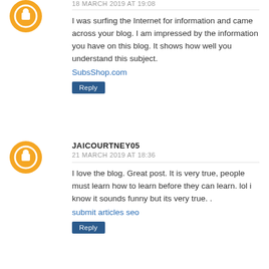I was surfing the Internet for information and came across your blog. I am impressed by the information you have on this blog. It shows how well you understand this subject.
SubsShop.com
Reply
JAICOURTNEY05
21 MARCH 2019 AT 18:36
I love the blog. Great post. It is very true, people must learn how to learn before they can learn. lol i know it sounds funny but its very true. .
submit articles seo
Reply
MATTHEW GEORGE
23 MARCH 2019 AT 19:39
It proved to be Very helpful to me and I am sure to all the commentators here!
SubsShop.com
Reply